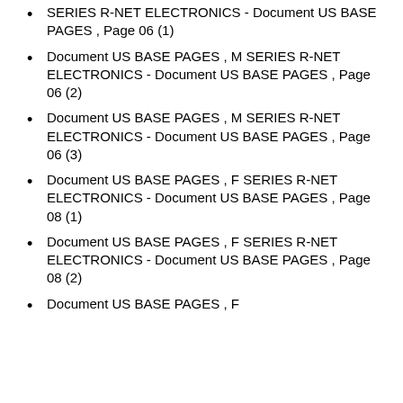SERIES R-NET ELECTRONICS - Document US BASE PAGES , Page 06 (1)
Document US BASE PAGES , M SERIES R-NET ELECTRONICS - Document US BASE PAGES , Page 06 (2)
Document US BASE PAGES , M SERIES R-NET ELECTRONICS - Document US BASE PAGES , Page 06 (3)
Document US BASE PAGES , F SERIES R-NET ELECTRONICS - Document US BASE PAGES , Page 08 (1)
Document US BASE PAGES , F SERIES R-NET ELECTRONICS - Document US BASE PAGES , Page 08 (2)
Document US BASE PAGES , F